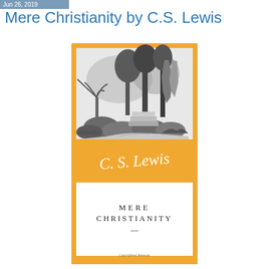Jun 26, 2019
Mere Christianity by C.S. Lewis
[Figure (illustration): Book cover of 'Mere Christianity' by C.S. Lewis. Orange/yellow cover with a black-and-white landscape illustration at top showing trees and a garden path, a cursive signature 'C. S. Lewis' in white in the middle section, and a white panel at the bottom with the title 'MERE CHRISTIANITY' in spaced capital letters with an em dash below.]